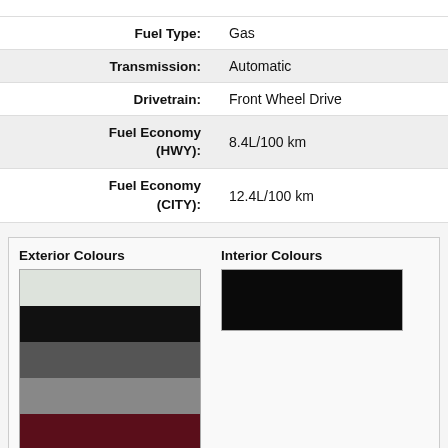| Attribute | Value |
| --- | --- |
| Fuel Type: | Gas |
| Transmission: | Automatic |
| Drivetrain: | Front Wheel Drive |
| Fuel Economy (HWY): | 8.4L/100 km |
| Fuel Economy (CITY): | 12.4L/100 km |
[Figure (infographic): Exterior Colours swatches: light grey, black, dark grey, medium grey, dark red/maroon. Interior Colours swatch: black.]